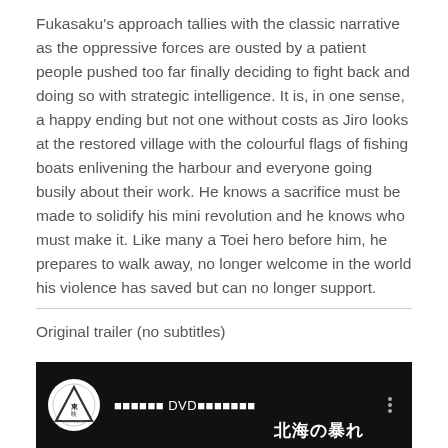Fukasaku's approach tallies with the classic narrative as the oppressive forces are ousted by a patient people pushed too far finally deciding to fight back and doing so with strategic intelligence. It is, in one sense, a happy ending but not one without costs as Jiro looks at the restored village with the colourful flags of fishing boats enlivening the harbour and everyone going busily about their work. He knows a sacrifice must be made to solidify his mini revolution and he knows who must make it. Like many a Toei hero before him, he prepares to walk away, no longer welcome in the world his violence has saved but can no longer support.
Original trailer (no subtitles)
[Figure (screenshot): YouTube video embed with Toei Video logo (triangle/circle design), Japanese text title including DVD, three-dot menu icon, and Japanese subtitle text '北海の暴れ' on black background]